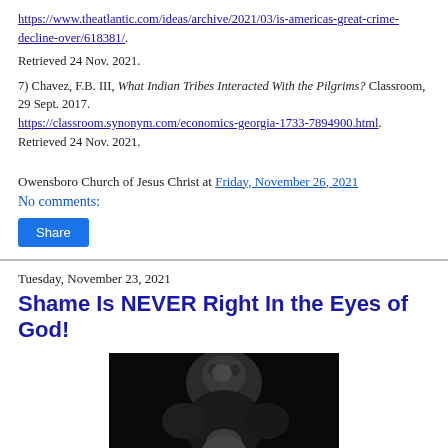https://www.theatlantic.com/ideas/archive/2021/03/is-americas-great-crime-decline-over/618381/. Retrieved 24 Nov. 2021.
7) Chavez, F.B. III, What Indian Tribes Interacted With the Pilgrims? Classroom, 29 Sept. 2017. https://classroom.synonym.com/economics-georgia-1733-7894900.html. Retrieved 24 Nov. 2021.
Owensboro Church of Jesus Christ at Friday, November 26, 2021
No comments:
Share
Tuesday, November 23, 2021
Shame Is NEVER Right In the Eyes of God!
[Figure (photo): Black and white photo of a person pointing their finger toward the camera, face partially visible against dark background.]